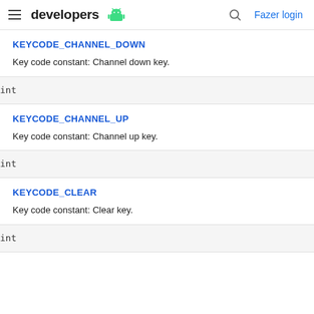developers | Fazer login
KEYCODE_CHANNEL_DOWN
Key code constant: Channel down key.
int
KEYCODE_CHANNEL_UP
Key code constant: Channel up key.
int
KEYCODE_CLEAR
Key code constant: Clear key.
int